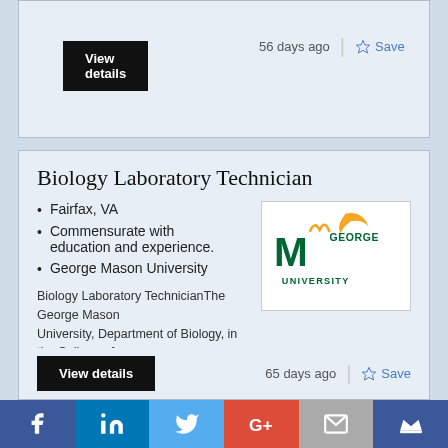56 days ago
Save
Biology Laboratory Technician
Fairfax, VA
Commensurate with education and experience.
George Mason University
[Figure (logo): George Mason University logo with green text and gold swoosh]
Biology Laboratory TechnicianThe George Mason University, Department of Biology, in the College of...
65 days ago
Save
[Figure (other): Social media share bar with Facebook, LinkedIn, Twitter, Google+, email, and crown icons]